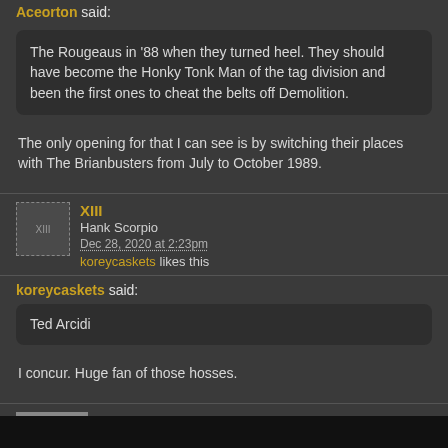Aceorton said:
The Rougeaus in '88 when they turned heel. They should have become the Honky Tonk Man of the tag division and been the first ones to cheat the belts off Demolition.
The only opening for that I can see is by switching their places with The Brianbusters from July to October 1989.
XIII
Hank Scorpio
Dec 28, 2020 at 2:23pm
koreycaskets likes this
koreycaskets said:
Ted Arcidi
I concur. Huge fan of those hosses.
Aceorton
Hank Scorpio
Dec 28, 2020 at 3:55pm
sungod2020 said: